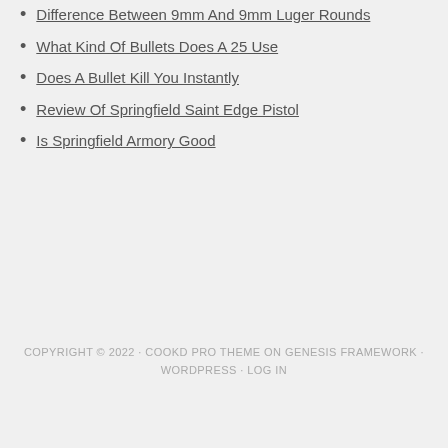Difference Between 9mm And 9mm Luger Rounds
What Kind Of Bullets Does A 25 Use
Does A Bullet Kill You Instantly
Review Of Springfield Saint Edge Pistol
Is Springfield Armory Good
COPYRIGHT © 2022 · COOKD PRO THEME ON GENESIS FRAMEWORK · WORDPRESS · LOG IN